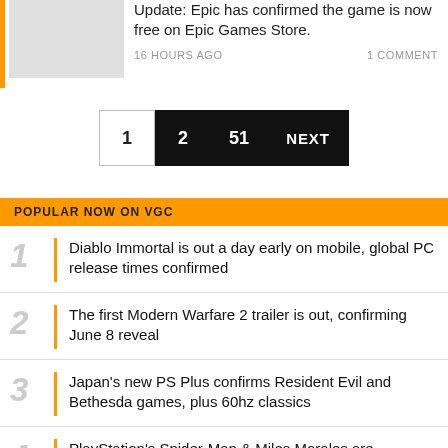Update: Epic has confirmed the game is now free on Epic Games Store.
16 HOURS AGO    1 COMMENT
1  2  51  NEXT
POPULAR NOW ON VGC
1 Diablo Immortal is out a day early on mobile, global PC release times confirmed
2 The first Modern Warfare 2 trailer is out, confirming June 8 reveal
3 Japan's new PS Plus confirms Resident Evil and Bethesda games, plus 60hz classics
4 PlayStation's Spider-Man & Miles Morales are